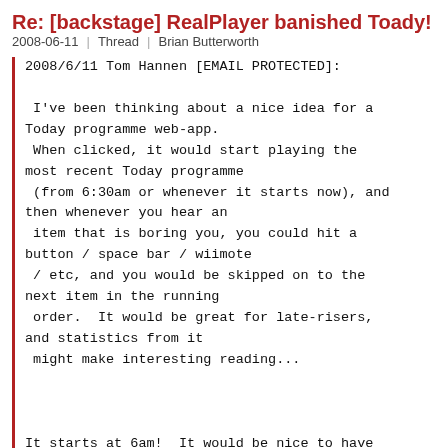Re: [backstage] RealPlayer banished Toady!
2008-06-11 | Thread | Brian Butterworth
2008/6/11 Tom Hannen [EMAIL PROTECTED]:

 I've been thinking about a nice idea for a
Today programme web-app.
 When clicked, it would start playing the
most recent Today programme
 (from 6:30am or whenever it starts now), and
then whenever you hear an
 item that is boring you, you could hit a
button / space bar / wiimote
 / etc, and you would be skipped on to the
next item in the running
 order.  It would be great for late-risers,
and statistics from it
 might make interesting reading...



It starts at 6am!  It would be nice to have
all the audio clips for the day
on